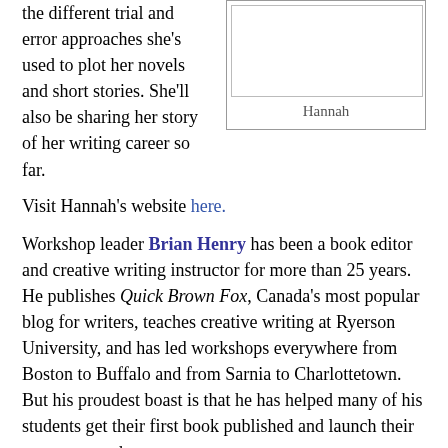[Figure (photo): Photo of Hannah with caption 'Hannah']
the different trial and error approaches she's used to plot her novels and short stories. She'll also be sharing her story of her writing career so far.
Visit Hannah's website here.
Workshop leader Brian Henry has been a book editor and creative writing instructor for more than 25 years. He publishes Quick Brown Fox, Canada's most popular blog for writers, teaches creative writing at Ryerson University, and has led workshops everywhere from Boston to Buffalo and from Sarnia to Charlottetown. But his proudest boast is that he has helped many of his students get their first book published and launch their careers as authors.
See reviews of Brian's classes and workshops here